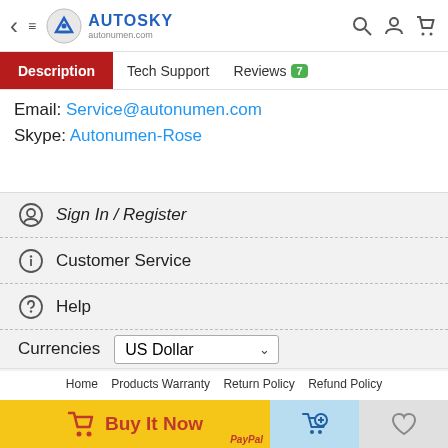AUTOSKY autonumen.com
Description | Tech Support | Reviews 7
Email: Service@autonumen.com
Skype: Autonumen-Rose
Sign In / Register
Customer Service
Help
Currencies  US Dollar
Home  Products Warranty  Return Policy  Refund Policy  Return for repair  Privacy Policy  News & Event  Blog  Technical Support
Copyright ©2005-2022 autonumen.com
[Figure (other): Bottom action bar with Buy It Now (yellow, red cart icon), Add to Cart (blue), and Wishlist (gray heart) buttons. PayPal logo text visible.]